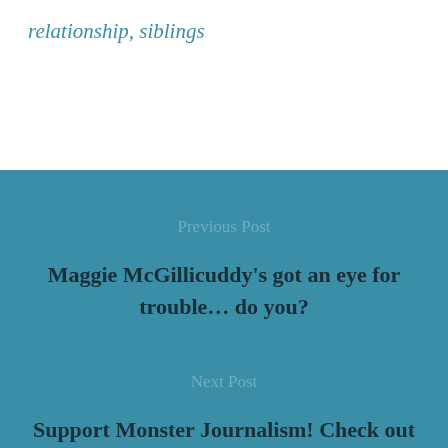relationship, siblings
Previous Post
Maggie McGillicuddy's got an eye for trouble… do you?
Next Post
Support Monster Journalism! Check out The Creepy Case Files of Margo Maloo!